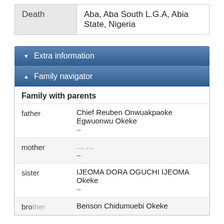|  |  |
| --- | --- |
| Death | Aba, Aba South L.G.A, Abia State, Nigeria |
▼ Extra information
▲ Family navigator
Family with parents
father: Chief Reuben Onwuakpaoke Egwuonwu Okeke –
mother: … … –
sister: IJEOMA DORA OGUCHI IJEOMA Okeke –
brother: Benson Chidumuebi Okeke